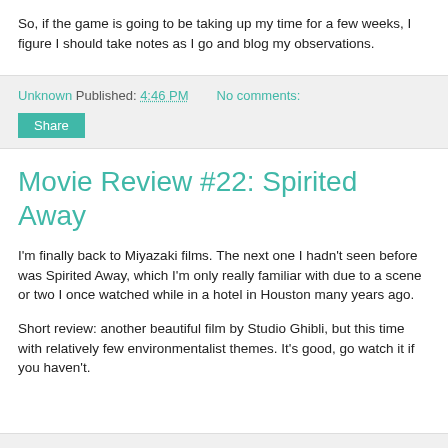So, if the game is going to be taking up my time for a few weeks, I figure I should take notes as I go and blog my observations.
Unknown Published: 4:46 PM   No comments:
Share
Movie Review #22: Spirited Away
I'm finally back to Miyazaki films. The next one I hadn't seen before was Spirited Away, which I'm only really familiar with due to a scene or two I once watched while in a hotel in Houston many years ago.
Short review: another beautiful film by Studio Ghibli, but this time with relatively few environmentalist themes. It's good, go watch it if you haven't.